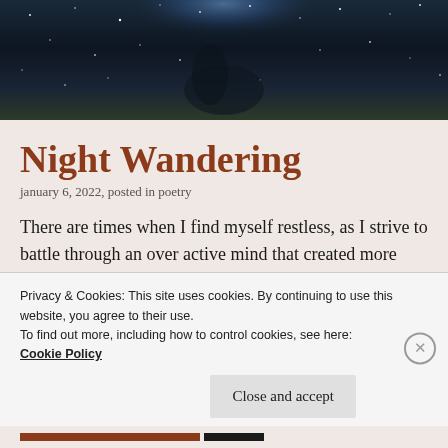[Figure (photo): Dark night sky photograph showing stars and a nebula (Horsehead Nebula region), with dark space background and blue nebula glow at top center]
Night Wandering
january 6, 2022, posted in poetry
There are times when I find myself restless, as I strive to battle through an over active mind that created more thoughts than one could manage at
Privacy & Cookies: This site uses cookies. By continuing to use this website, you agree to their use.
To find out more, including how to control cookies, see here:
Cookie Policy
Close and accept